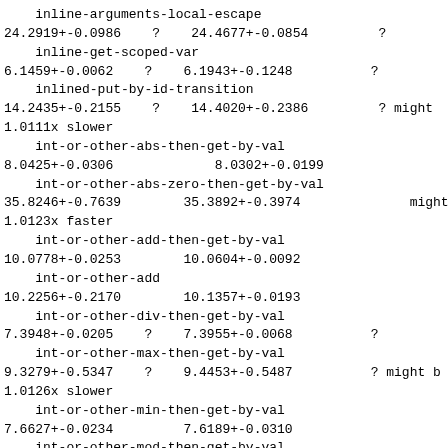inline-arguments-local-escape
24.2919+-0.0986    ?    24.4677+-0.0854         ?
    inline-get-scoped-var
6.1459+-0.0062    ?    6.1943+-0.1248          ?
    inlined-put-by-id-transition
14.2435+-0.2155    ?    14.4020+-0.2386         ? might
1.0111x slower
    int-or-other-abs-then-get-by-val
8.0425+-0.0306             8.0302+-0.0199
    int-or-other-abs-zero-then-get-by-val
35.8246+-0.7639        35.3892+-0.3974              might
1.0123x faster
    int-or-other-add-then-get-by-val
10.0778+-0.0253        10.0604+-0.0092
    int-or-other-add
10.2256+-0.2170        10.1357+-0.0193
    int-or-other-div-then-get-by-val
7.3948+-0.0205    ?    7.3955+-0.0068          ?
    int-or-other-max-then-get-by-val
9.3279+-0.5347    ?    9.4453+-0.5487          ? might b
1.0126x slower
    int-or-other-min-then-get-by-val
7.6627+-0.0234         7.6189+-0.0310
    int-or-other-mod-then-get-by-val
7.3554+-0.0268         7.3547+-0.0421
    int-or-other-mul-then-get-by-val
6.6501+-0.0152         6.6296+-0.0130
    int-or-other-neg-then-get-by-val
7.9337+-0.2913         7.9233+-0.2668
    int-or-other-neg-zero-then-get-by-val